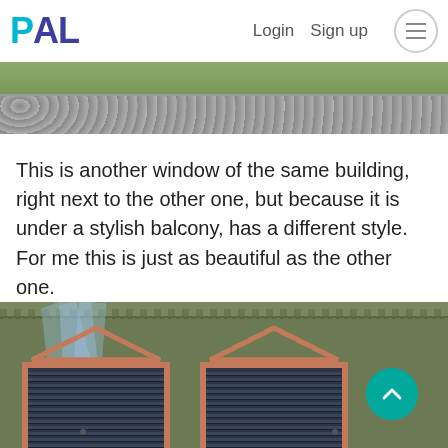PAL  Login  Sign up
[Figure (photo): Partial top image showing rocks and greenery — cropped top portion of an outdoor scene]
This is another window of the same building, right next to the other one, but because it is under a stylish balcony, has a different style. For me this is just as beautiful as the other one.
[Figure (photo): Two symmetrical windows with pink/terracotta frames, triangular pediments, and dark louvered shutters on an olive-green building facade, with blue light rays streaming from the upper left]